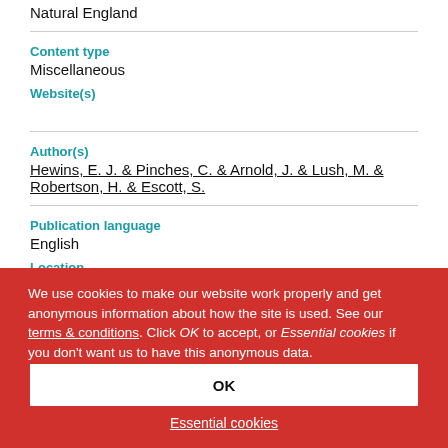Natural England
Content type
Miscellaneous
Website(s)
Author(s)
Hewins, E. J. & Pinches, C. & Arnold, J. & Lush, M. & Robertson, H. & Escott, S.
Publication language
English
Location
UK & England
We use cookies to make our website work properly and get anonymous information about how the site is used. See our terms & conditions. Click OK to accept, or Essential cookies if you don't want us to have this anonymous data.
OK
Essential cookies